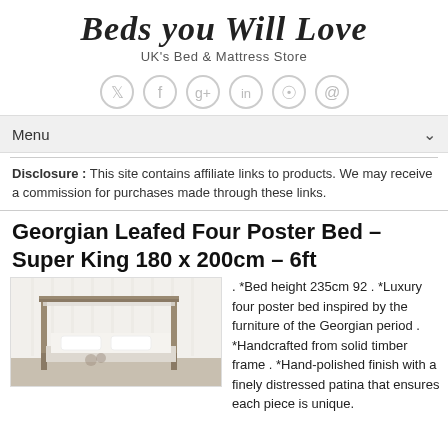Beds You Will Love
UK's Bed & Mattress Store
[Figure (infographic): Social media icons: Twitter, Facebook, Google+, LinkedIn, RSS, Email — circular grey outline icons]
Menu
Disclosure : This site contains affiliate links to products. We may receive a commission for purchases made through these links.
Georgian Leafed Four Poster Bed – Super King 180 x 200cm – 6ft
[Figure (photo): Photo of a Georgian four poster bed with white bedding in a bright room]
. *Bed height 235cm 92 . *Luxury four poster bed inspired by the furniture of the Georgian period . *Handcrafted from solid timber frame . *Hand-polished finish with a finely distressed patina that ensures each piece is unique.